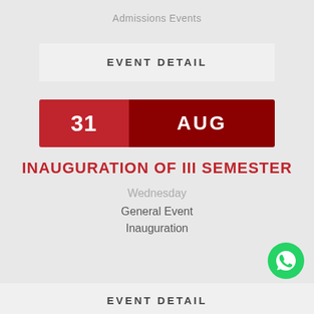Admissions Events
EVENT DETAIL
31 AUG
INAUGURATION OF III SEMESTER
Wednesday
General Event
Inauguration
[Figure (logo): WhatsApp icon - green circle with white phone handset]
EVENT DETAIL